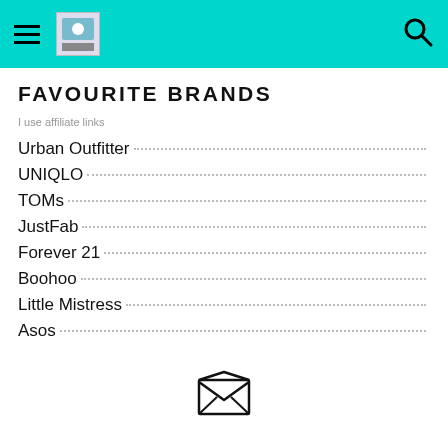Navigation header with hamburger menu, logo, and search icon
FAVOURITE BRANDS
I use affiliate links
Urban Outfitter
UNIQLO
TOMs
JustFab
Forever 21
Boohoo
Little Mistress
Asos
[Figure (illustration): Email/envelope icon at bottom center of page]